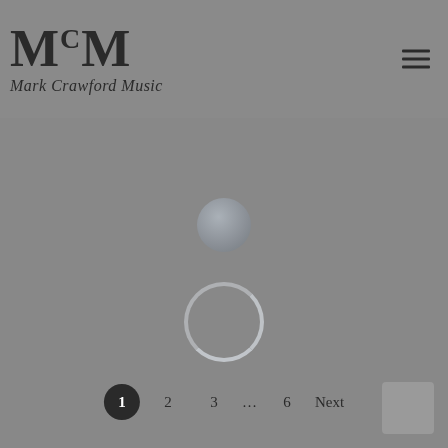McM Mark Crawford Music
[Figure (other): Loading spinner interface: two circular shapes centered on page — a small solid grey circle above and a larger grey ring/spinner circle below, indicating page loading state]
1 2 3 … 6 Next